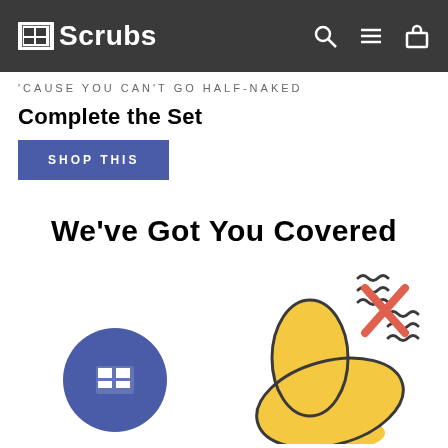TiScrubs
'CAUSE YOU CAN'T GO HALF-NAKED
Complete the Set
SHOP THIS
We've Got You Covered
[Figure (illustration): Illustration showing a yellow hand/thumb shape with a TiScrubs logo circle badge on the left, and a red X with wavy lines symbol on the upper right, against a white background.]